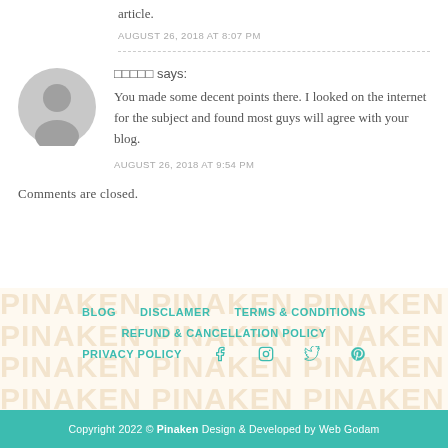article.
AUGUST 26, 2018 AT 8:07 PM
□□□□□ says:
You made some decent points there. I looked on the internet for the subject and found most guys will agree with your blog.
AUGUST 26, 2018 AT 9:54 PM
Comments are closed.
BLOG   DISCLAMER   TERMS & CONDITIONS   REFUND & CANCELLATION POLICY   PRIVACY POLICY
Copyright 2022 © Pinaken Design & Developed by Web Godam